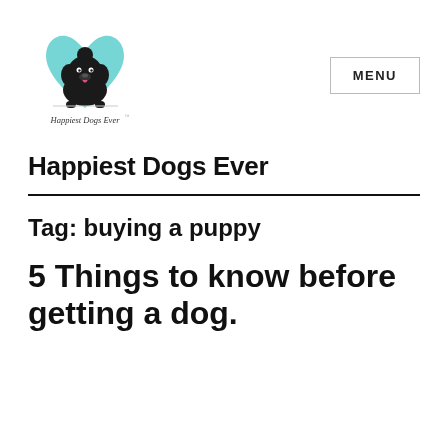[Figure (logo): Happiest Dogs Ever logo: a cartoon black poodle dog peeking over a surface with a teal/mint heart shape behind it, and cursive text 'Happiest Dogs Ever' below]
MENU
Happiest Dogs Ever
Tag: buying a puppy
5 Things to know before getting a dog.